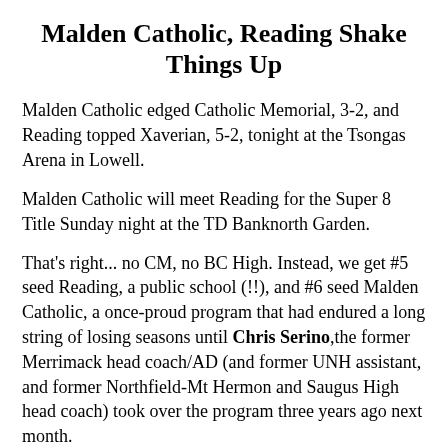Malden Catholic, Reading Shake Things Up
Malden Catholic edged Catholic Memorial, 3-2, and Reading topped Xaverian, 5-2, tonight at the Tsongas Arena in Lowell.
Malden Catholic will meet Reading for the Super 8 Title Sunday night at the TD Banknorth Garden.
That's right... no CM, no BC High. Instead, we get #5 seed Reading, a public school (!!), and #6 seed Malden Catholic, a once-proud program that had endured a long string of losing seasons until Chris Serino,the former Merrimack head coach/AD (and former UNH assistant, and former Northfield-Mt Hermon and Saugus High head coach) took over the program three years ago next month.
The championship game matchup gives a nice jolt to the Super 8 -- and more importantly, Massachusetts high school hockey -- by returning a sense of possibility to what had become, without taking anything away from CM and BC High, a deathly boring and predictable tournament. We don't expect that the Garden will be packed on Sunday night the way it was in decades past, but it will be far more livelies -- and loud -- than it has been in years. Maybe